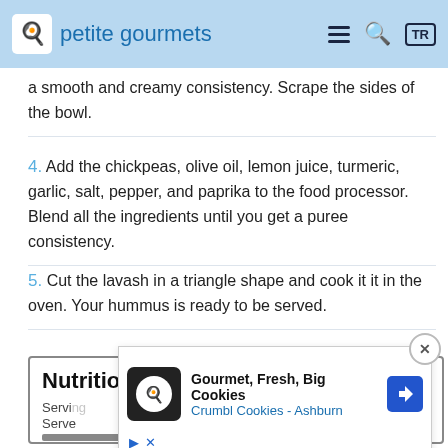petite gourmets
a smooth and creamy consistency. Scrape the sides of the bowl.
4. Add the chickpeas, olive oil, lemon juice, turmeric, garlic, salt, pepper, and paprika to the food processor. Blend all the ingredients until you get a puree consistency.
5. Cut the lavash in a triangle shape and cook it it in the oven. Your hummus is ready to be served.
Nutrition Facts
Serving
Serve
Amou